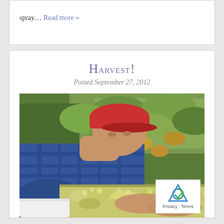spray… Read more »
Harvest!
Posted September 27, 2012
[Figure (photo): A man wearing a blue plaid shirt and red baseball cap leaning over a sorting table covered with harvested green/white grapes, with grapevines in the background]